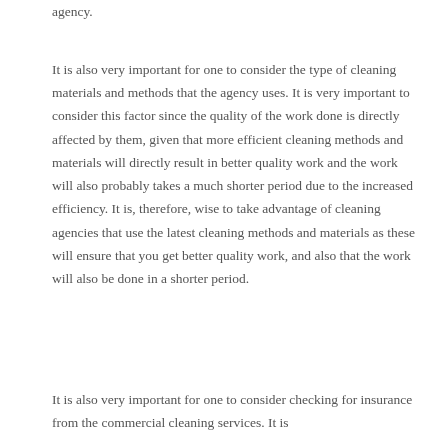agency.
It is also very important for one to consider the type of cleaning materials and methods that the agency uses. It is very important to consider this factor since the quality of the work done is directly affected by them, given that more efficient cleaning methods and materials will directly result in better quality work and the work will also probably takes a much shorter period due to the increased efficiency. It is, therefore, wise to take advantage of cleaning agencies that use the latest cleaning methods and materials as these will ensure that you get better quality work, and also that the work will also be done in a shorter period.
It is also very important for one to consider checking for insurance from the commercial cleaning services. It is